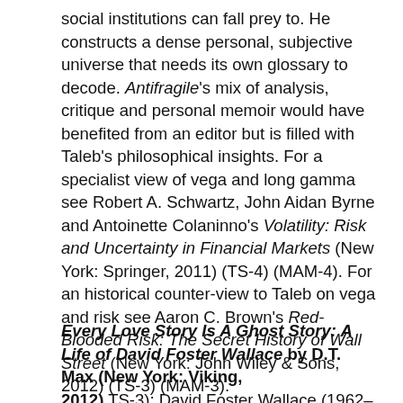social institutions can fall prey to. He constructs a dense personal, subjective universe that needs its own glossary to decode. Antifragile's mix of analysis, critique and personal memoir would have benefited from an editor but is filled with Taleb's philosophical insights. For a specialist view of vega and long gamma see Robert A. Schwartz, John Aidan Byrne and Antoinette Colaninno's Volatility: Risk and Uncertainty in Financial Markets (New York: Springer, 2011) (TS-4) (MAM-4). For an historical counter-view to Taleb on vega and risk see Aaron C. Brown's Red-Blooded Risk: The Secret History of Wall Street (New York: John Wiley & Sons, 2012) (TS-3) (MAM-3).
Every Love Story Is A Ghost Story: A Life of David Foster Wallace by D.T. Max (New York: Viking, 2012) TS-3); David Foster Wallace (1962–2008)